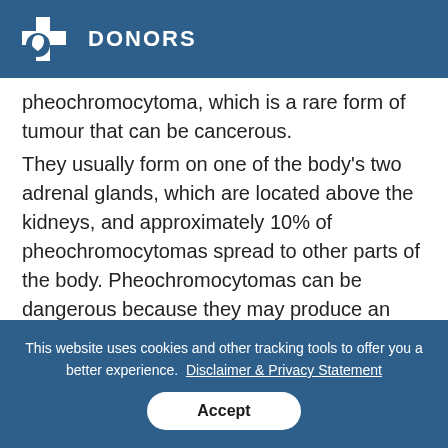DONORS
pheochromocytoma, which is a rare form of tumour that can be cancerous. They usually form on one of the body's two adrenal glands, which are located above the kidneys, and approximately 10% of pheochromocytomas spread to other parts of the body. Pheochromocytomas can be dangerous because they may produce an excessive amount of the hormone adrenaline, which makes people sick,
This website uses cookies and other tracking tools to offer you a better experience. Disclaimer & Privacy Statement
Accept